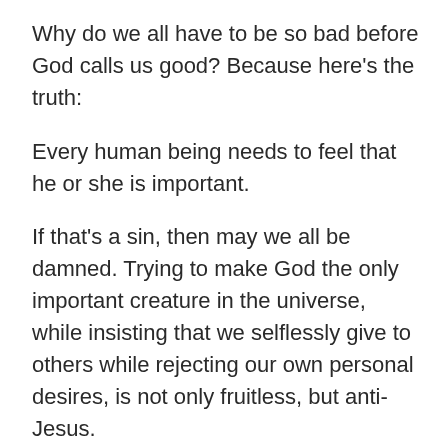Why do we all have to be so bad before God calls us good? Because here’s the truth:
Every human being needs to feel that he or she is important.
If that’s a sin, then may we all be damned. Trying to make God the only important creature in the universe, while insisting that we selflessly give to others while rejecting our own personal desires, is not only fruitless, but anti-Jesus.
Jesus told us “we are the salt of the Earth. We are the light of the world.”
It is our works that people will see, and then glorify God. He said if we’re given much, much is expected of us. He